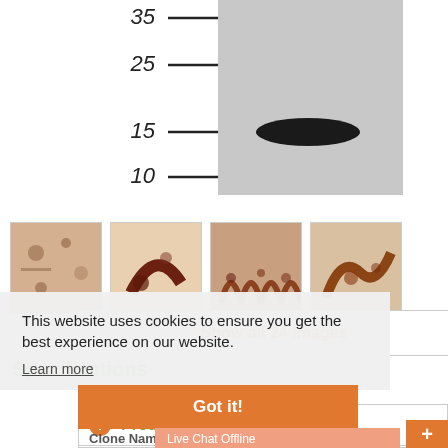[Figure (other): Western blot image showing molecular weight markers at 35, 25, 15, 10 kDa on left and a single dark band in the lane at approximately 17 kDa]
[Figure (photo): Strip of four IHC (immunohistochemistry) thumbnail images showing tissue staining in brown]
This website uses cookies to ensure you get the best experience on our website.
Learn more
Specifications
Got it!
Show all 24 images
Product Data
Clone Nam
Live Chat Offline